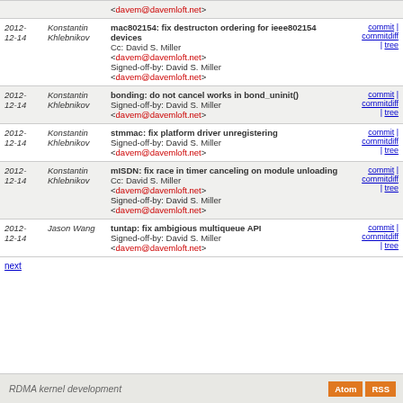| Date | Author | Message | Links |
| --- | --- | --- | --- |
| 2012-12-14 | Konstantin Khlebnikov | mac802154: fix destructon ordering for ieee802154 devices
Cc: David S. Miller <davem@davemloft.net>
Signed-off-by: David S. Miller <davem@davemloft.net> | commit | commitdiff | tree |
| 2012-12-14 | Konstantin Khlebnikov | bonding: do not cancel works in bond_uninit()
Signed-off-by: David S. Miller <davem@davemloft.net> | commit | commitdiff | tree |
| 2012-12-14 | Konstantin Khlebnikov | stmmac: fix platform driver unregistering
Signed-off-by: David S. Miller <davem@davemloft.net> | commit | commitdiff | tree |
| 2012-12-14 | Konstantin Khlebnikov | mISDN: fix race in timer canceling on module unloading
Cc: David S. Miller <davem@davemloft.net>
Signed-off-by: David S. Miller <davem@davemloft.net> | commit | commitdiff | tree |
| 2012-12-14 | Jason Wang | tuntap: fix ambigious multiqueue API
Signed-off-by: David S. Miller <davem@davemloft.net> | commit | commitdiff | tree |
next
RDMA kernel development